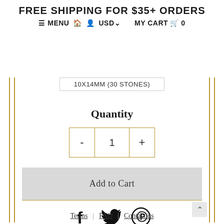FREE SHIPPING FOR $35+ ORDERS
≡ MENU 🏠 👤 USD∨   MY CART 🛒 0
10X14MM (30 STONES)
Quantity
- 1 +
Add to Cart
[Figure (other): Social sharing icons: Facebook (f), Twitter (bird), Pinterest (P circle)]
Terms | FAQ | Contact us